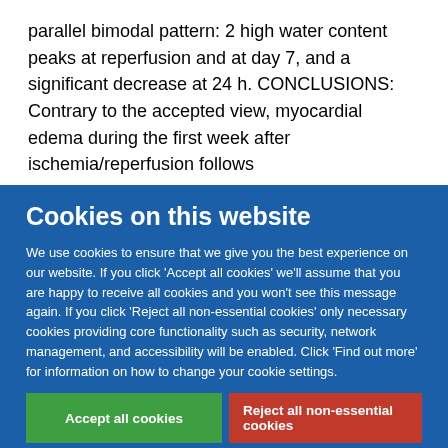parallel bimodal pattern: 2 high water content peaks at reperfusion and at day 7, and a significant decrease at 24 h. CONCLUSIONS: Contrary to the accepted view, myocardial edema during the first week after ischemia/reperfusion follows
Cookies on this website
We use cookies to ensure that we give you the best experience on our website. If you click 'Accept all cookies' we'll assume that you are happy to receive all cookies and you won't see this message again. If you click 'Reject all non-essential cookies' only necessary cookies providing core functionality such as security, network management, and accessibility will be enabled. Click 'Find out more' for information on how to change your cookie settings.
Accept all cookies
Reject all non-essential cookies
Find out more